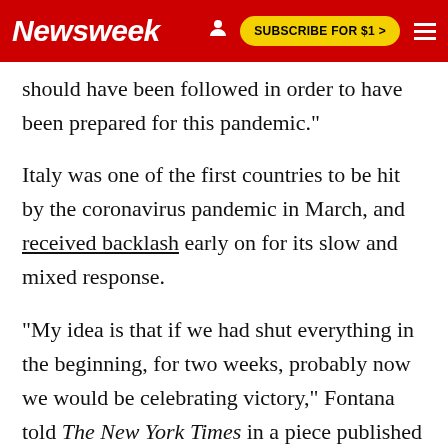Newsweek | SUBSCRIBE FOR $1 >
should have been followed in order to have been prepared for this pandemic."
Italy was one of the first countries to be hit by the coronavirus pandemic in March, and received backlash early on for its slow and mixed response.
"My idea is that if we had shut everything in the beginning, for two weeks, probably now we would be celebrating victory," Fontana told The New York Times in a piece published on March